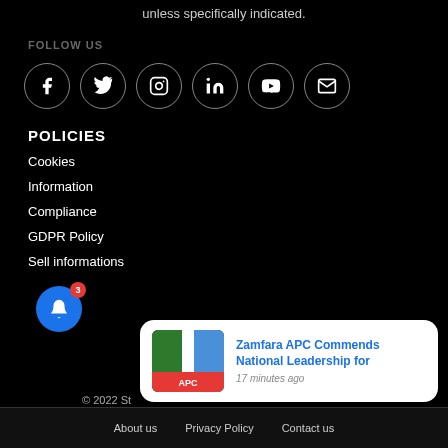unless specifically indicated.
FOLLOW US
[Figure (illustration): Six circular social media icon buttons: Facebook, Twitter, Instagram, LinkedIn, YouTube, Email]
POLICIES
Cookies
Information
Compliance
GDPR Policy
Sell informations
[Figure (screenshot): Notification card showing APC logo image and text 'Zamfara APC Commends National Leadership for' with timestamp '17 minutes ago']
© 2022 St     About us     Privacy Policy     Contact us